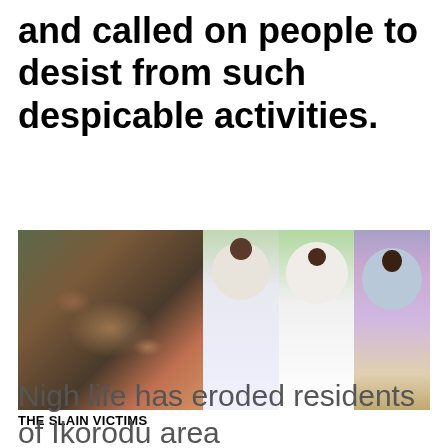and called on people to desist from such despicable activities.
[Figure (photo): Two photos side by side: left photo shows victims lying down, right photo shows three people standing wearing white clothing outdoors.]
THE SLAIN VICTIMS
Nigh life has eroded residents of Ikorodu area